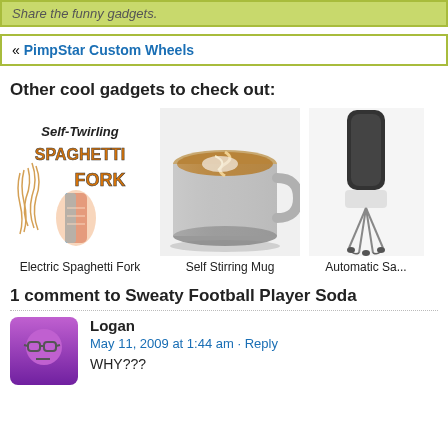Share the funny gadgets.
« PimpStar Custom Wheels
Other cool gadgets to check out:
[Figure (illustration): Electric Spaghetti Fork product image with stylized text]
Electric Spaghetti Fork
[Figure (photo): Self Stirring Mug – stainless steel mug with coffee]
Self Stirring Mug
[Figure (photo): Automatic Sauce stirrer device, partially visible]
Automatic Sa...
1 comment to Sweaty Football Player Soda
Logan
May 11, 2009 at 1:44 am · Reply
WHY???